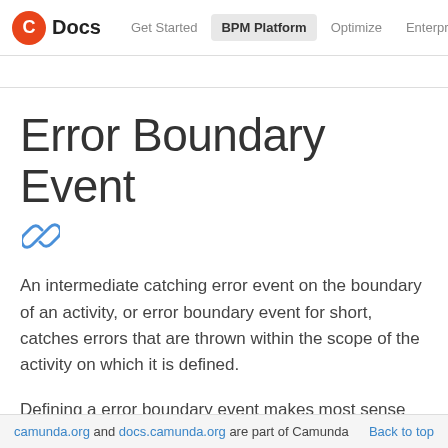C Docs | Get Started | BPM Platform | Optimize | Enterprise | Camunda.org ≡
Error Boundary Event
An intermediate catching error event on the boundary of an activity, or error boundary event for short, catches errors that are thrown within the scope of the activity on which it is defined.
Defining a error boundary event makes most sense on an embedded subprocess, or a call activity, as a subprocess creates a scope for all activities inside the subprocess.
camunda.org and docs.camunda.org are part of Camunda   Back to top